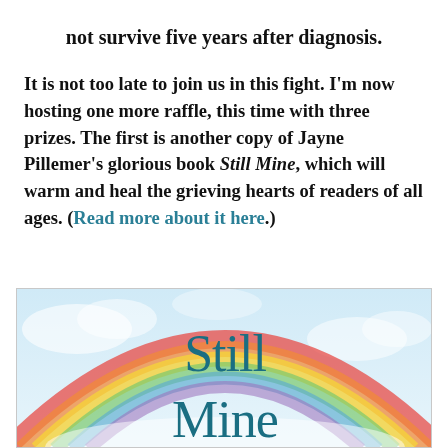not survive five years after diagnosis.
It is not too late to join us in this fight. I'm now hosting one more raffle, this time with three prizes. The first is another copy of Jayne Pillemer's glorious book Still Mine, which will warm and heal the grieving hearts of readers of all ages. (Read more about it here.)
[Figure (illustration): Book cover of 'Still Mine' showing a rainbow arc over a soft blue sky background, with the title 'Still Mine' in large teal serif font.]